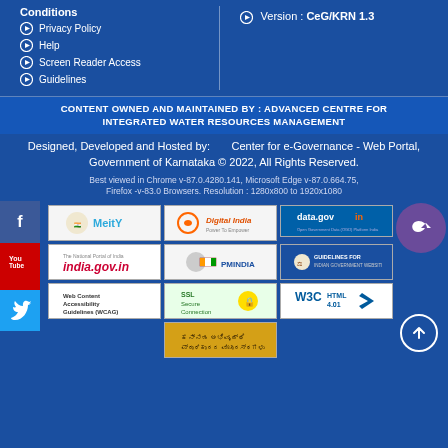Conditions
Privacy Policy
Help
Screen Reader Access
Guidelines
Version : CeG/KRN 1.3
CONTENT OWNED AND MAINTAINED BY : ADVANCED CENTRE FOR INTEGRATED WATER RESOURCES MANAGEMENT
Designed, Developed and Hosted by:        Center for e-Governance - Web Portal, Government of Karnataka © 2022, All Rights Reserved.
Best viewed in Chrome v-87.0.4280.141, Microsoft Edge v-87.0.664.75, Firefox -v-83.0 Browsers. Resolution : 1280x800 to 1920x1080
[Figure (logo): MeitY logo with Ashoka emblem]
[Figure (logo): Digital India logo]
[Figure (logo): data.gov.in logo]
[Figure (logo): india.gov.in logo]
[Figure (logo): PMINDIA logo]
[Figure (logo): Guidelines for Indian Government Websites]
[Figure (logo): Web Content Accessibility Guidelines (WCAG)]
[Figure (logo): SSL Secure Connection]
[Figure (logo): W3C HTML 4.01]
[Figure (logo): Kannada text logo]